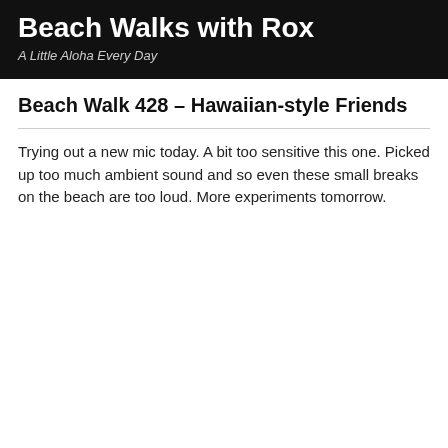Beach Walks with Rox
A Little Aloha Every Day
Beach Walk 428 – Hawaiian-style Friends
Trying out a new mic today. A bit too sensitive this one. Picked up too much ambient sound and so even these small breaks on the beach are too loud. More experiments tomorrow.